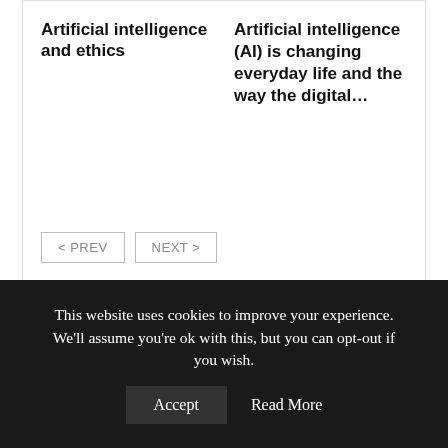Artificial intelligence and ethics
Artificial intelligence (AI) is changing everyday life and the way the digital...
< PREV   NEXT >
Get the best of Business News delivered to your inbox daily
Enter your e-mail ..  Subscribe
This website uses cookies to improve your experience. We'll assume you're ok with this, but you can opt-out if you wish.  Accept  Read More